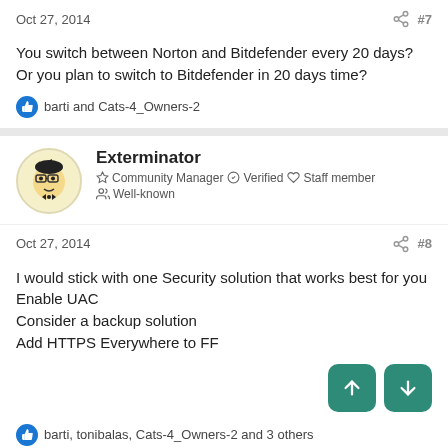Oct 27, 2014  #7
You switch between Norton and Bitdefender every 20 days? Or you plan to switch to Bitdefender in 20 days time?
barti and Cats-4_Owners-2
Exterminator
Community Manager  Verified  Staff member
Well-known
Oct 27, 2014  #8
I would stick with one Security solution that works best for you
Enable UAC
Consider a backup solution
Add HTTPS Everywhere to FF
barti, tonibalas, Cats-4_Owners-2 and 3 others